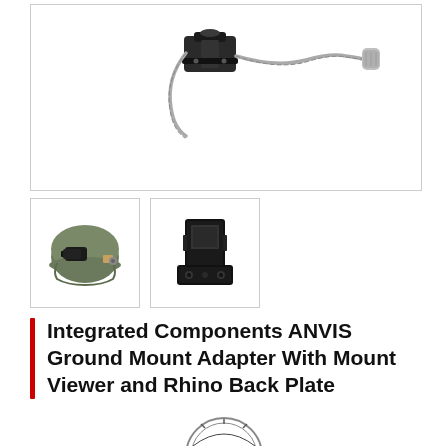[Figure (photo): Main product photo showing an ANVIS Ground Mount Adapter with a cable/wire attached, on a white background]
[Figure (photo): Thumbnail photo showing a military helmet with night vision mount attached, on white background]
[Figure (photo): Thumbnail photo showing a black Rhino Back Plate mount adapter component, on white background]
Integrated Components ANVIS Ground Mount Adapter With Mount Viewer and Rhino Back Plate
[Figure (logo): Circular company logo at bottom of page, partially visible]